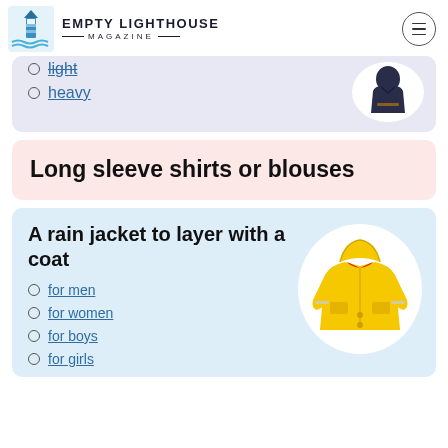Empty Lighthouse Magazine
light
heavy
Long sleeve shirts or blouses
A rain jacket to layer with a coat
for men
for women
for boys
for girls